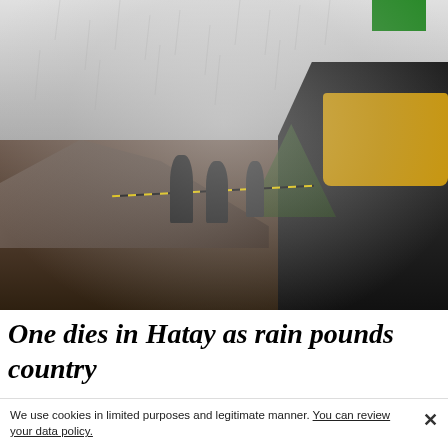[Figure (photo): A rainy, foggy scene showing workers and heavy machinery (excavator) on a road blocked by rubble and debris. Several silhouetted figures stand near the rubble. A yellow excavator is visible on the right. Trees are visible in the misty background.]
One dies in Hatay as rain pounds country
We use cookies in limited purposes and legitimate manner. You can review your data policy.